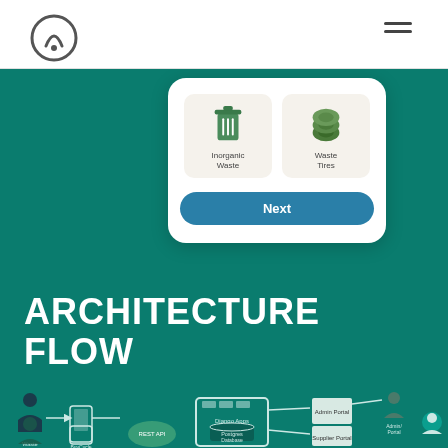[Figure (screenshot): Mobile app screen showing waste category selection options: Inorganic Waste (green trash can icon) and Waste Tires (tire stack icon), both on beige card backgrounds, with a teal 'Next' button below.]
ARCHITECTURE FLOW
[Figure (flowchart): Architecture flow diagram showing: Waste Suppliers and Farmers connected to BuyCycle App and PlantPay App respectively, PlantPay App connects to REST API, both apps feed into a central Django Apps server with Postgres Database, which connects to Admin Portal (with Admin/Portal user) and Supplier Portal (with Supplier user icon).]